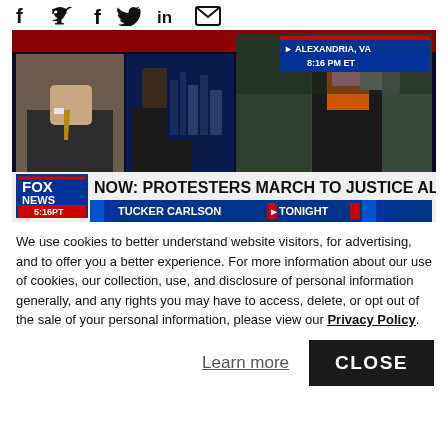Social share icons: f (Facebook), Twitter bird, in (LinkedIn), email envelope
[Figure (screenshot): Fox News TV screenshot showing Tucker Carlson Tonight. Chyron reads: NOW: PROTESTERS MARCH TO JUSTICE ALITO'S HOUSE. Top right banner: ALEXANDRIA, VA 8:16 PM ET. Left panel shows Tucker Carlson, center panel shows a Black male guest, right panel shows a protest with a woman speaking into a megaphone wearing a pink mask. Bottom bar shows Fox News logo, 5:16 PT, and TUCKER CARLSON TONIGHT.]
We use cookies to better understand website visitors, for advertising, and to offer you a better experience. For more information about our use of cookies, our collection, use, and disclosure of personal information generally, and any rights you may have to access, delete, or opt out of the sale of your personal information, please view our Privacy Policy.
Learn more
CLOSE